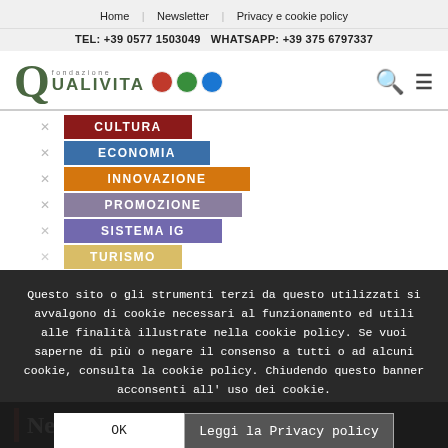Home | Newsletter | Privacy e cookie policy
TEL: +39 0577 1503049 WHATSAPP: +39 375 6797337
[Figure (logo): Fondazione Qualivita logo with Q monogram in olive green, text 'fondazione QUALIVITA' and three colored certification icons (red, green, blue circles)]
CULTURA
ECONOMIA
INNOVAZIONE
PROMOZIONE
SISTEMA IG
TURISMO
Questo sito o gli strumenti terzi da questo utilizzati si avvalgono di cookie necessari al funzionamento ed utili alle finalità illustrate nella cookie policy. Se vuoi saperne di più o negare il consenso a tutti o ad alcuni cookie, consulta la cookie policy. Chiudendo questo banner acconsenti all'uso dei cookie.
OK
Leggi la Privacy policy
Newsletter